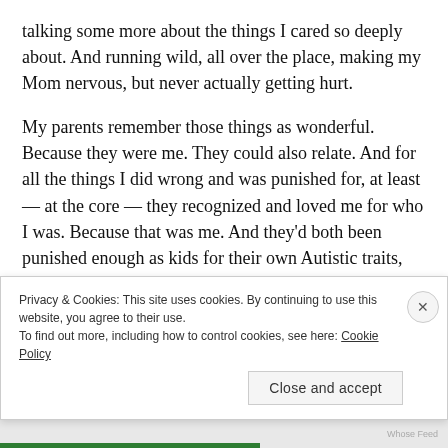talking some more about the things I cared so deeply about. And running wild, all over the place, making my Mom nervous, but never actually getting hurt.
My parents remember those things as wonderful. Because they were me. They could also relate. And for all the things I did wrong and was punished for, at least — at the core — they recognized and loved me for who I was. Because that was me. And they'd both been punished enough as kids for their own Autistic traits, that they never wanted to do that to their own kids
Privacy & Cookies: This site uses cookies. By continuing to use this website, you agree to their use.
To find out more, including how to control cookies, see here: Cookie Policy